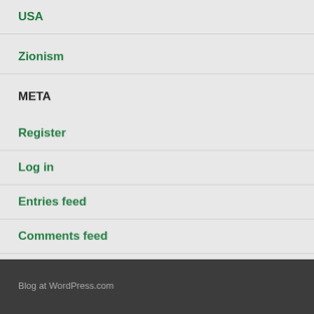USA
Zionism
META
Register
Log in
Entries feed
Comments feed
WordPress.com
Blog at WordPress.com